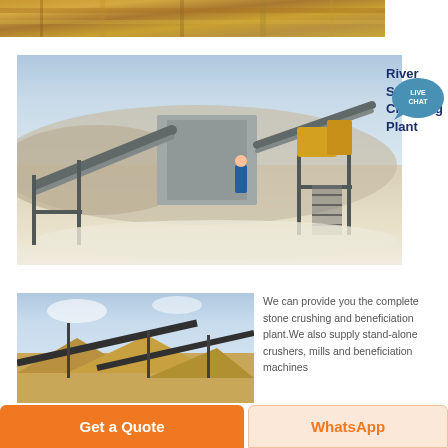[Figure (photo): Top strip photo of industrial crushing/mining machinery with yellow and brown tones]
[Figure (photo): Large photo of a river stone crushing plant with conveyor belts and machinery in an open quarry with light sandy ground]
River Stone Crushing Plant
[Figure (infographic): Live chat bubble icon with text LIVE CHAT]
[Figure (photo): Photo of stone crushing and beneficiation plant with conveyor belts and aggregate piles]
We can provide you the complete stone crushing and beneficiation plant.We also supply stand-alone crushers, mills and beneficiation machines
Get a Quote
WhatsApp